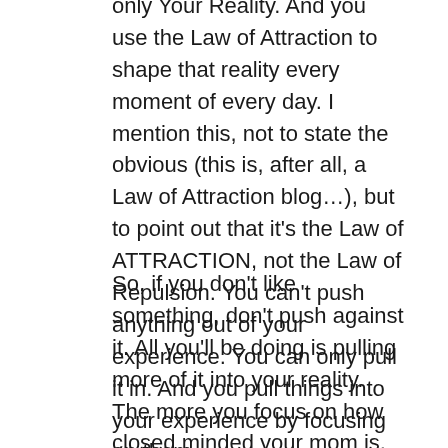only Your Reality. And you use the Law of Attraction to shape that reality every moment of every day. I mention this, not to state the obvious (this is, after all, a Law of Attraction blog…), but to point out that it's the Law of ATTRACTION, not the Law of Repulsion. You can't push anything out of your experience. You can only pull it in. And you pull things into your experience by focusing on them.
So, if you don't like something, don't push against it. All you'll be doing is pulling more of it into your reality. The more you focus on how closed minded your mom is, the more of that side of her you'll get. The louder you get and the more vehemently you try to argue, the more she pushes right back. She becomes even